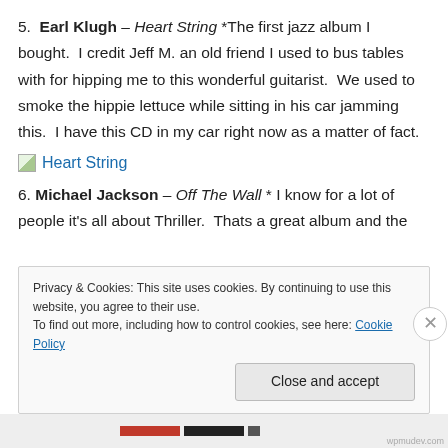5.  Earl Klugh – Heart String *The first jazz album I bought.  I credit Jeff M. an old friend I used to bus tables with for hipping me to this wonderful guitarist.  We used to smoke the hippie lettuce while sitting in his car jamming this.  I have this CD in my car right now as a matter of fact.
[Figure (illustration): Broken image placeholder with alt text 'Heart String' shown as a blue hyperlink]
6.  Michael Jackson – Off The Wall * I know for a lot of people it's all about Thriller.  Thats a great album and the
Privacy & Cookies: This site uses cookies. By continuing to use this website, you agree to their use.
To find out more, including how to control cookies, see here: Cookie Policy
Close and accept